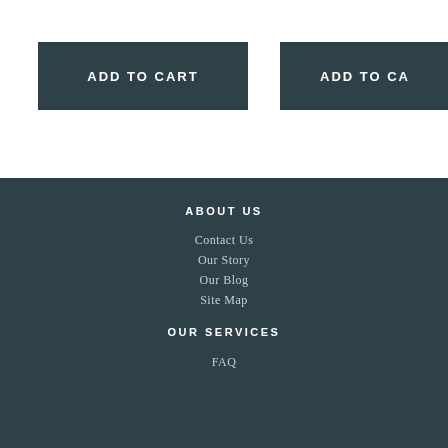ADD TO CART
ADD TO CA
ABOUT US
Contact Us
Our Story
Our Blog
Site Map
OUR SERVICES
FAQ